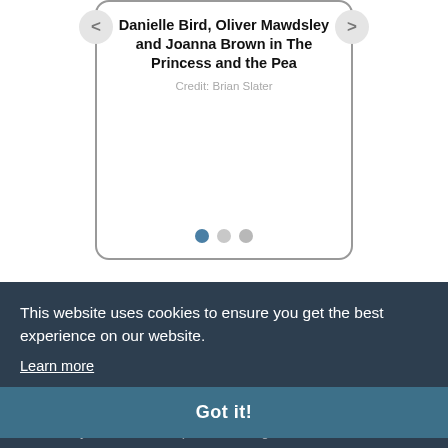Danielle Bird, Oliver Mawdsley and Joanna Brown in The Princess and the Pea
Credit: Brian Slater
[Figure (screenshot): Carousel navigation dots showing 3 slides, first dot active]
This website uses cookies to ensure you get the best experience on our website.
Learn more
Got it!
and The Boy Who Cried Wolf). It's a winning